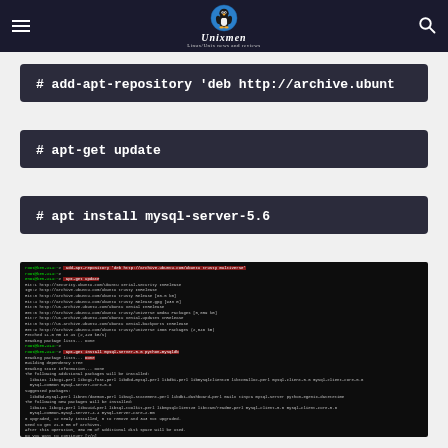Unixmen — Linux/Unix news and reviews
# add-apt-repository 'deb http://archive.ubuntu ...
# apt-get update
# apt install mysql-server-5.6
[Figure (screenshot): Terminal screenshot showing the execution of add-apt-repository, apt-get update, and apt-get install mysql-server-5.6 commands with their output on a dark terminal window]